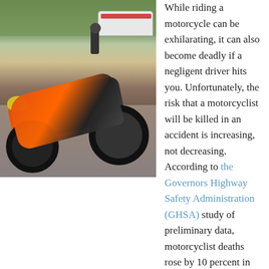[Figure (photo): A motorcycle lying on its side on the road after a crash, with a police car and officer visible in the background.]
While riding a motorcycle can be exhilarating, it can also become deadly if a negligent driver hits you. Unfortunately, the risk that a motorcyclist will be killed in an accident is increasing, not decreasing. According to the Governors Highway Safety Administration (GHSA) study of preliminary data, motorcyclist deaths rose by 10 percent in 2015 from 2014's final figures. In